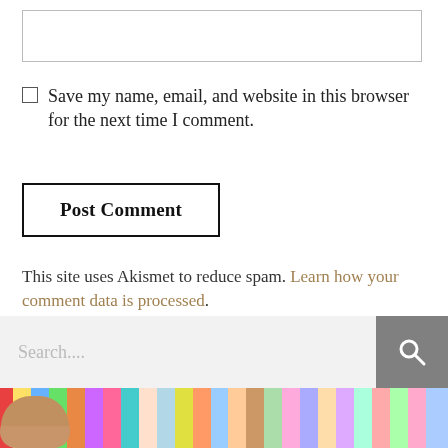[comment textarea - empty input field]
Save my name, email, and website in this browser for the next time I comment.
Post Comment
This site uses Akismet to reduce spam. Learn how your comment data is processed.
[Figure (screenshot): Search bar with placeholder text 'Search....' and a grey search icon button on the right, followed by a photo of a person in front of colorful book spines]